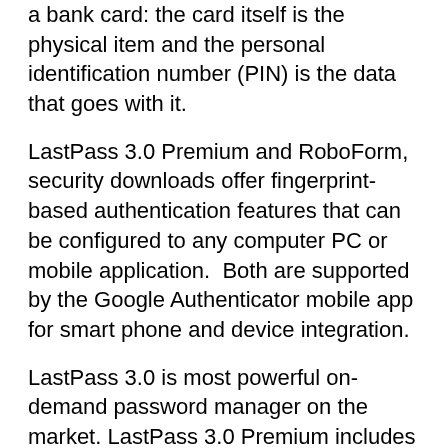a bank card: the card itself is the physical item and the personal identification number (PIN) is the data that goes with it.
LastPass 3.0 Premium and RoboForm, security downloads offer fingerprint-based authentication features that can be configured to any computer PC or mobile application.  Both are supported by the Google Authenticator mobile app for smart phone and device integration.
LastPass 3.0 is most powerful on-demand password manager on the market. LastPass 3.0 Premium includes mobile support and more features. Dashlane 2.0 is is not as robust, but includes a user-friendly interface. F-Secure Key is a free, one-device version of these top competitors. F-Secure Key is for